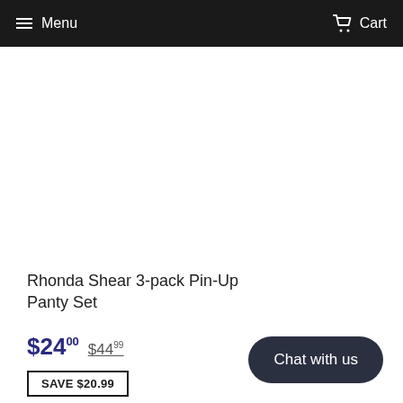Menu   Cart
Rhonda Shear 3-pack Pin-Up Panty Set
$24.00  $44.99
SAVE $20.99
Chat with us